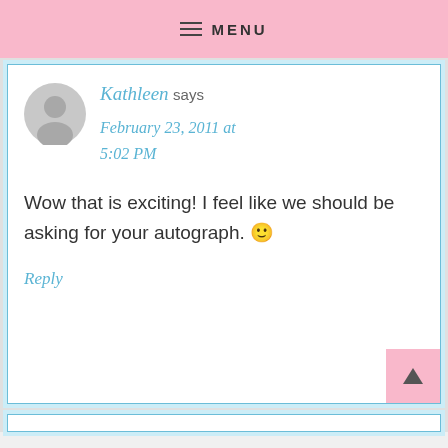MENU
Kathleen says
February 23, 2011 at 5:02 PM
Wow that is exciting! I feel like we should be asking for your autograph. 🙂
Reply